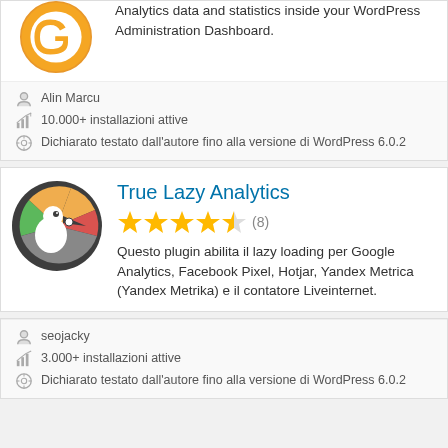Analytics data and statistics inside your WordPress Administration Dashboard.
Alin Marcu
10.000+ installazioni attive
Dichiarato testato dall'autore fino alla versione di WordPress 6.0.2
True Lazy Analytics
(8)
Questo plugin abilita il lazy loading per Google Analytics, Facebook Pixel, Hotjar, Yandex Metrica (Yandex Metrika) e il contatore Liveinternet.
seojacky
3.000+ installazioni attive
Dichiarato testato dall'autore fino alla versione di WordPress 6.0.2